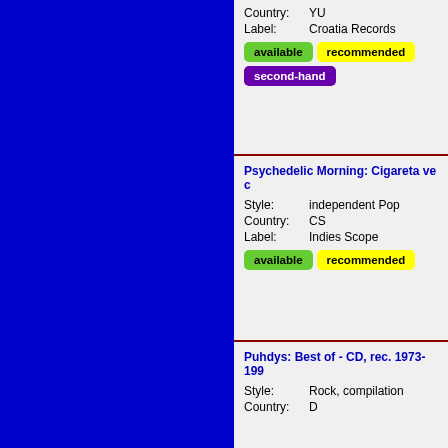Country: YU
Label: Croatia Records
available | recommended | second-hand
Psychedelic Morning: Cigareta ve c
Style: independent Pop
Country: CS
Label: Indies Scope
available | recommended
Puhdys: Best of - CD, rec. 1973-199
Style: Rock, compilation
Country: D